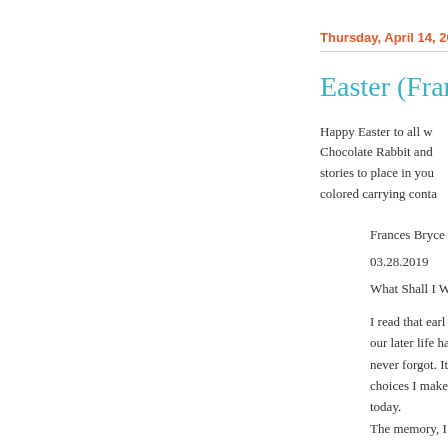Thursday, April 14, 20...
Easter (Franc...
Happy Easter to all w... Chocolate Rabbit and... stories to place in you... colored carrying conta...
Frances Bryce...
03.28.2019
What Shall I W...
I read that earl... our later life ha... never forgot. It... choices I make... today.
The memory, I... memory.
My best friend... but Easter Sur...